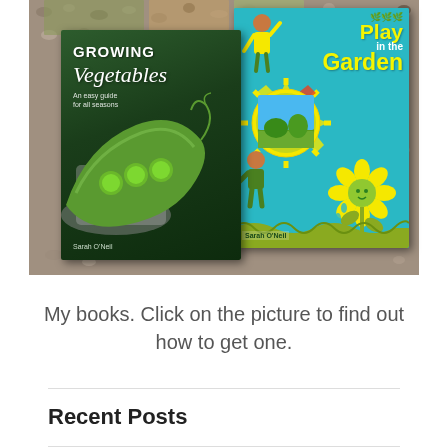[Figure (photo): Two book covers by Sarah O'Neil on a gravel background. Left: 'Growing Vegetables - An easy guide for all seasons' with a green cover showing pea pods. Right: 'Play in the Garden' with a teal/turquoise cover showing cartoon illustrations of a sun, flower, and children.]
My books. Click on the picture to find out how to get one.
Recent Posts